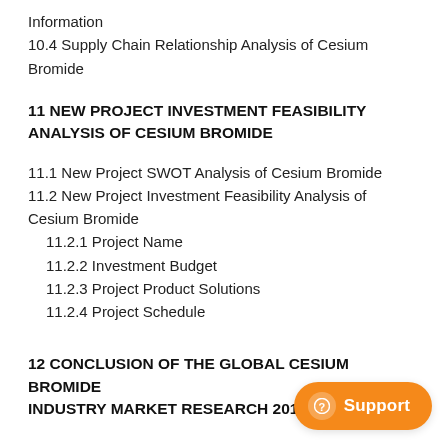Information
10.4 Supply Chain Relationship Analysis of Cesium Bromide
11 NEW PROJECT INVESTMENT FEASIBILITY ANALYSIS OF CESIUM BROMIDE
11.1 New Project SWOT Analysis of Cesium Bromide
11.2 New Project Investment Feasibility Analysis of Cesium Bromide
11.2.1 Project Name
11.2.2 Investment Budget
11.2.3 Project Product Solutions
11.2.4 Project Schedule
12 CONCLUSION OF THE GLOBAL CESIUM BROMIDE INDUSTRY MARKET RESEARCH 2019